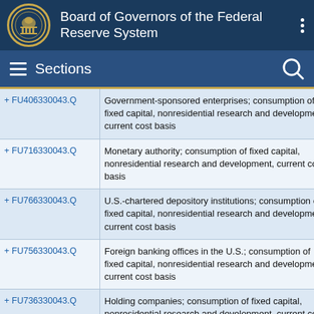Board of Governors of the Federal Reserve System
Sections
| Code | Description |
| --- | --- |
| + FU406330043.Q | Government-sponsored enterprises; consumption of fixed capital, nonresidential research and development, current cost basis |
| + FU716330043.Q | Monetary authority; consumption of fixed capital, nonresidential research and development, current cost basis |
| + FU766330043.Q | U.S.-chartered depository institutions; consumption of fixed capital, nonresidential research and development, current cost basis |
| + FU756330043.Q | Foreign banking offices in the U.S.; consumption of fixed capital, nonresidential research and development, current cost basis |
| + FU736330043.Q | Holding companies; consumption of fixed capital, nonresidential research and development, current cost basis |
| + FU476330043.Q | Credit unions; consumption of fixed capital, |